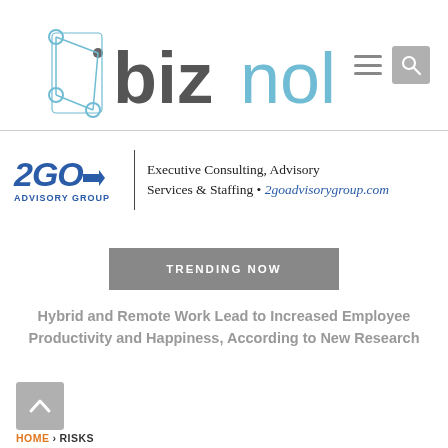[Figure (logo): Biznology website logo with network graph icon and hamburger menu / search icons]
[Figure (logo): 2GO Advisory Group advertisement banner: Executive Consulting, Advisory Services & Staffing • 2goadvisorygroup.com]
TRENDING NOW
Hybrid and Remote Work Lead to Increased Employee Productivity and Happiness, According to New Research
[Figure (other): Back to top arrow button (grey square with upward chevron)]
HOME › RISKS